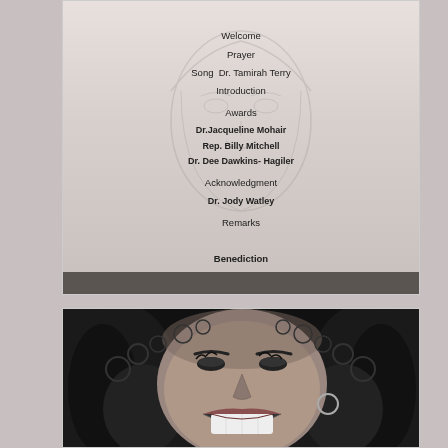[Figure (photo): A program/event order of service document photographed, showing text on a light grey/beige background with a faint face watermark. Text lists: Welcome, Prayer, Song Dr. Tamirah Terry, Introduction, Awards, Dr.Jacqueline Mohair, Rep. Billy Mitchell, Dr. Dee Dawkins-Hagiler, Acknowledgment, Dr. Jody Watley, Remarks, Benediction.]
[Figure (photo): A black and white close-up photograph of a smiling woman with curly hair. She is laughing with her teeth showing and wearing a hoop earring.]